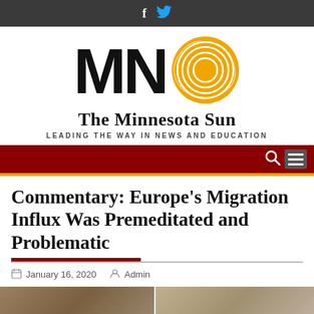Social media icons: Facebook, Twitter
[Figure (logo): The Minnesota Sun logo with bold MN letters and a golden sun spiral graphic]
The Minnesota Sun
LEADING THE WAY IN NEWS AND EDUCATION
Navigation bar with search and menu icons
Commentary: Europe's Migration Influx Was Premeditated and Problematic
January 16, 2020   Admin
[Figure (photo): Two photos at bottom of page, partially visible]